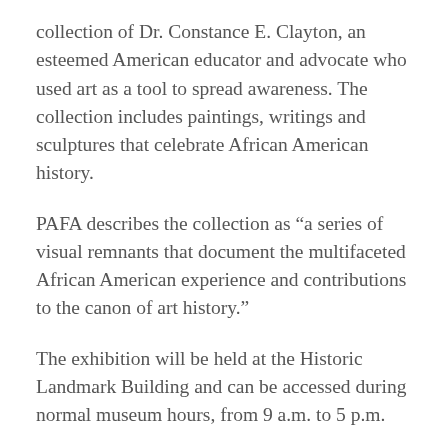collection of Dr. Constance E. Clayton, an esteemed American educator and advocate who used art as a tool to spread awareness. The collection includes paintings, writings and sculptures that celebrate African American history.
PAFA describes the collection as “a series of visual remnants that document the multifaceted African American experience and contributions to the canon of art history.”
The exhibition will be held at the Historic Landmark Building and can be accessed during normal museum hours, from 9 a.m. to 5 p.m.
Learn more here!